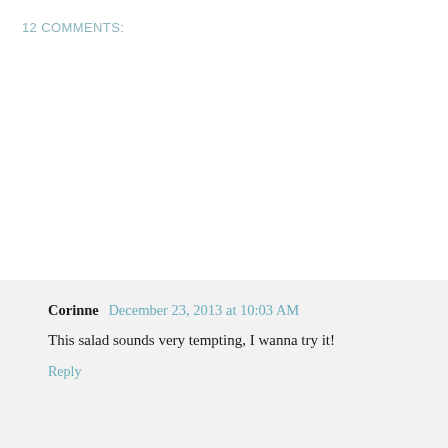12 COMMENTS:
Corinne December 23, 2013 at 10:03 AM
This salad sounds very tempting, I wanna try it!
Reply